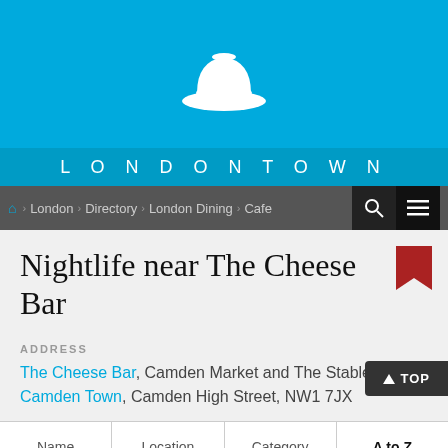[Figure (logo): LondonTown website header with blue background, white bowler hat icon, and LONDONTOWN text in white letters on a slightly darker blue bar]
London > Directory > London Dining > Cafe
Nightlife near The Cheese Bar
ADDRESS
The Cheese Bar, Camden Market and The Stables, Camden Town, Camden High Street, NW1 7JX
Name | Location | Category | A to Z
A B C D E F G H I J K L M